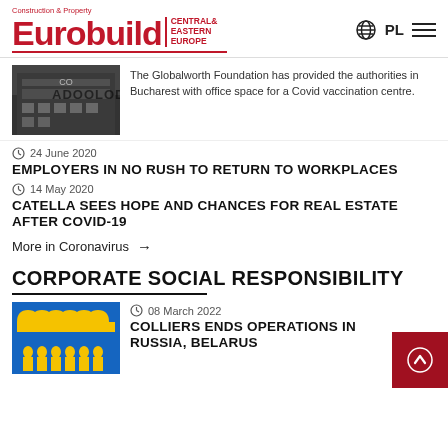Eurobuild Central & Eastern Europe | PL
[Figure (photo): Office building thumbnail]
The Globalworth Foundation has provided the authorities in Bucharest with office space for a Covid vaccination centre.
24 June 2020
EMPLOYERS IN NO RUSH TO RETURN TO WORKPLACES
14 May 2020
CATELLA SEES HOPE AND CHANCES FOR REAL ESTATE AFTER COVID-19
More in Coronavirus →
CORPORATE SOCIAL RESPONSIBILITY
[Figure (illustration): Blue and yellow CSR graphic with silhouette figures]
08 March 2022
COLLIERS ENDS OPERATIONS IN RUSSIA, BELARUS